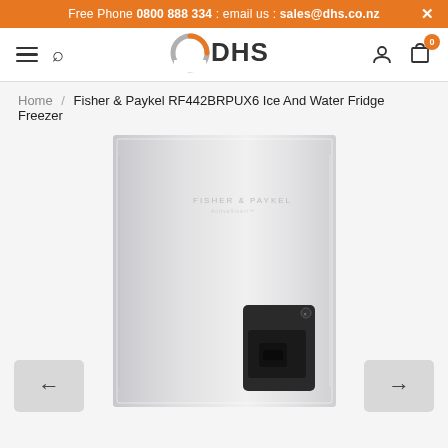Free Phone 0800 888 334 : email us : sales@dhs.co.nz
[Figure (logo): DHS logo with circular orange/grey arc and text 'DHS']
Home / Fisher & Paykel RF442BRPUX6 Ice And Water Fridge Freezer
[Figure (photo): Fisher & Paykel RF442BRPUX6 stainless steel French door fridge freezer with ice and water dispenser on the right door, shown on light grey background]